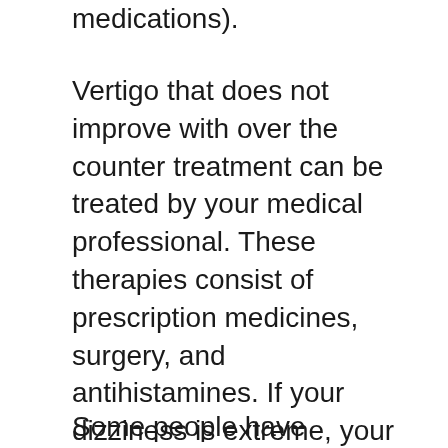medications).
Vertigo that does not improve with over the counter treatment can be treated by your medical professional. These therapies consist of prescription medicines, surgery, and antihistamines. If your dizziness is extreme, your physician may advise you to have a specialized echocardiography system or VASER (vesicular stentibular shutoff stimulation) procedure. This treatment utilizes a laser to open up the narrowed blood vessels that create the wooziness. The laser may also lower the quantity of liquid accumulation in your brain that triggers lightheadedness.
Some people have problems with dizziness